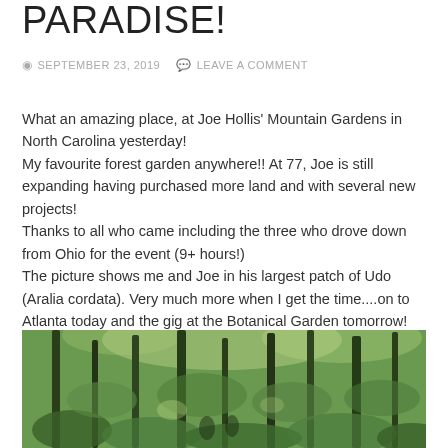PARADISE!
SEPTEMBER 23, 2019   LEAVE A COMMENT
What an amazing place, at Joe Hollis' Mountain Gardens in North Carolina yesterday!
My favourite forest garden anywhere!! At 77, Joe is still expanding having purchased more land and with several new projects!
Thanks to all who came including the three who drove down from Ohio for the event (9+ hours!)
The picture shows me and Joe in his largest patch of Udo (Aralia cordata). Very much more when I get the time....on to Atlanta today and the gig at the Botanical Garden tomorrow!
[Figure (photo): A forest garden scene with tall trees and lush green undergrowth, taken at Joe Hollis' Mountain Gardens in North Carolina.]